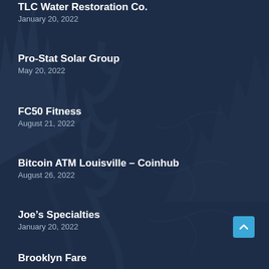TLC Water Restoration Co.
January 20, 2022
Pro-Stat Solar Group
May 20, 2022
FC50 Fitness
August 21, 2022
Bitcoin ATM Louisville – Coinhub
August 26, 2022
Joe's Specialties
January 20, 2022
Brooklyn Fare